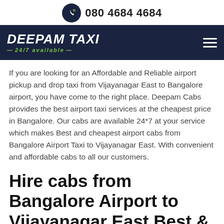080 4684 4684
DEEPAM TAXI — 24/7 available —
If you are looking for an Affordable and Reliable airport pickup and drop taxi from Vijayanagar East to Bangalore airport, you have come to the right place. Deepam Cabs provides the best airport taxi services at the cheapest price in Bangalore. Our cabs are available 24*7 at your service which makes Best and cheapest airport cabs from Bangalore Airport Taxi to Vijayanagar East. With convenient and affordable cabs to all our customers.
Hire cabs from Bangalore Airport to Vijayanagar East Best & Cheapest Airport Taxi